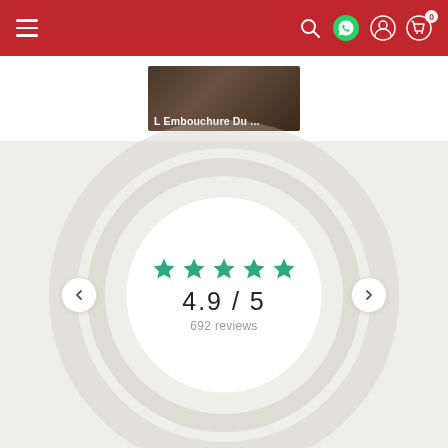Navigation bar with hamburger menu, search, WhatsApp, user, and cart icons
[Figure (photo): Product image thumbnail with text 'L Embouchure Du ...' on dark background]
[Figure (infographic): Rating widget showing 5 green stars, score 4.9 / 5, and 692 reviews inside concentric circle rings on beige background]
4.9 / 5
692 reviews